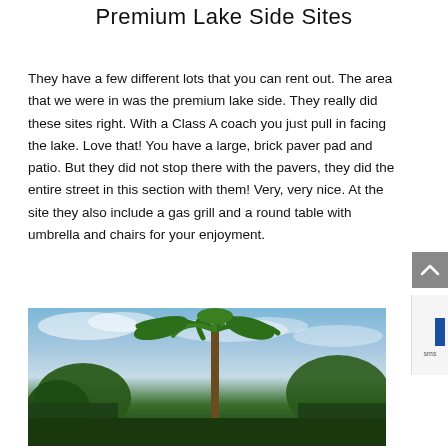Premium Lake Side Sites
They have a few different lots that you can rent out. The area that we were in was the premium lake side. They really did these sites right. With a Class A coach you just pull in facing the lake. Love that! You have a large, brick paver pad and patio. But they did not stop there with the pavers, they did the entire street in this section with them! Very, very nice. At the site they also include a gas grill and a round table with umbrella and chairs for your enjoyment.
[Figure (photo): Outdoor photo showing palm trees and tropical vegetation against a blue sky with clouds]